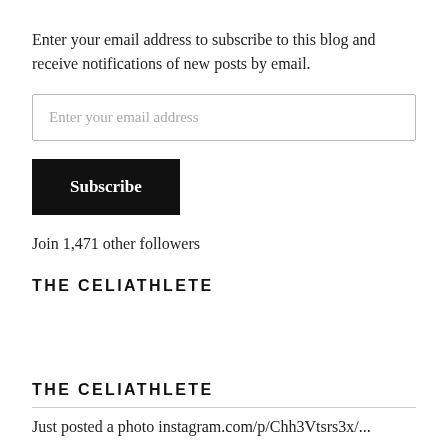Enter your email address to subscribe to this blog and receive notifications of new posts by email.
Enter your email address
Subscribe
Join 1,471 other followers
THE CELIATHLETE
THE CELIATHLETE
Just posted a photo instagram.com/p/Chh3Vtsrs3x/...